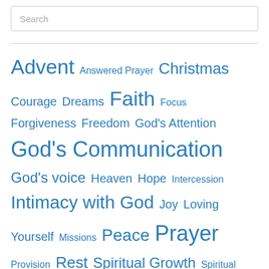Search
Advent Answered Prayer Christmas Courage Dreams Faith Focus Forgiveness Freedom God's Attention God's Communication God's voice Heaven Hope Intercession Intimacy with God Joy Loving Yourself Missions Peace Prayer Provision Rest Spiritual Growth Spiritual warfare The Beauty of God The Father Heart of God The Love of God Trust Victory